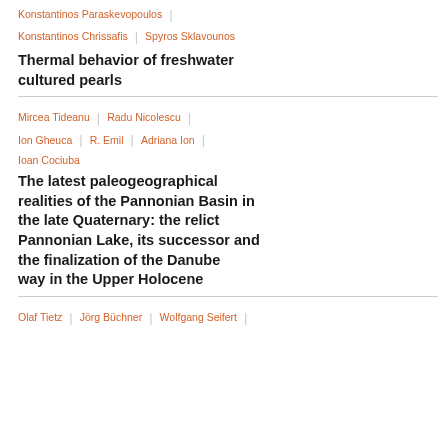Konstantinos Paraskevopoulos
Konstantinos Chrissafis | Spyros Sklavounos
Thermal behavior of freshwater cultured pearls
Mircea Tideanu | Radu Nicolescu | Ion Gheuca | R. Emil | Adriana Ion | Ioan Cociuba
The latest paleogeographical realities of the Pannonian Basin in the late Quaternary: the relict Pannonian Lake, its successor and the finalization of the Danube way in the Upper Holocene
Olaf Tietz | Jörg Büchner | Wolfgang Seifert |